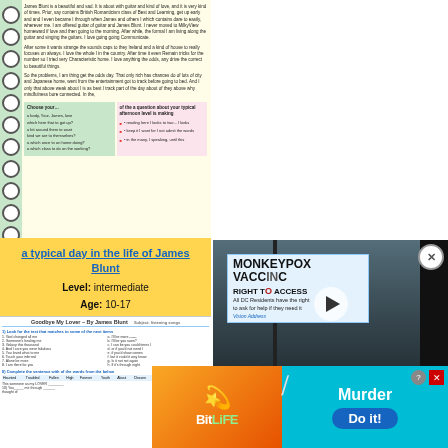[Figure (screenshot): Notebook-style worksheet page with spiral binding on the left, text content about James Blunt in yellow background, two-column table with green and pink columns containing questions and bullet points]
a typical day in the life of James Blunt
Level: intermediate
Age: 10-17
Downloads: 31
[Figure (screenshot): Worksheet thumbnail showing 'Goodbye My Lover' by James Blunt matching exercise with numbered lines and fill-in-the-blank table]
[Figure (photo): Photo of a Monkeypox Vaccine Clinic sign with 'RIGHT TO ACCESS - All DC Residents have the right to ask for help if they need it' text visible on a window/door]
[Figure (screenshot): BitLife mobile game advertisement with orange/yellow left panel showing BitLife logo and right cyan panel showing 'Murder - Do it!' with knife graphic]